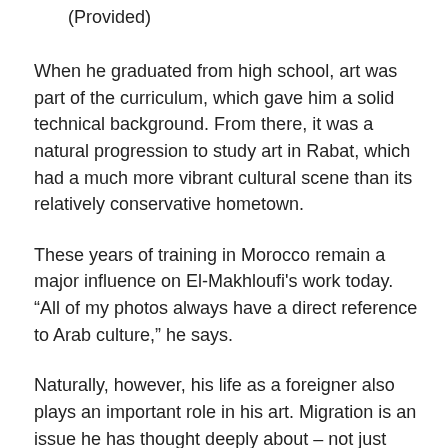(Provided)
When he graduated from high school, art was part of the curriculum, which gave him a solid technical background. From there, it was a natural progression to study art in Rabat, which had a much more vibrant cultural scene than its relatively conservative hometown.
These years of training in Morocco remain a major influence on El-Makhloufi’s work today. “All of my photos always have a direct reference to Arab culture,” he says.
Naturally, however, his life as a foreigner also plays an important role in his art. Migration is an issue he has thought deeply about – not just recent and widely reported refugee struggles, but older patterns stretching back generations. However, even though some of his paintings seem to make this connection obvious – like “...